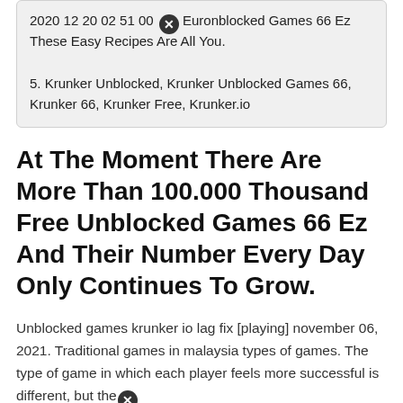2020 12 20 02 51 00 [x] EuronblockedGames 66 Ez These Easy Recipes Are All You.
5. Krunker Unblocked, Krunker Unblocked Games 66, Krunker 66, Krunker Free, Krunker.io
At The Moment There Are More Than 100.000 Thousand Free Unblocked Games 66 Ez And Their Number Every Day Only Continues To Grow.
Unblocked games krunker io lag fix [playing] november 06, 2021. Traditional games in malaysia types of games. The type of game in which each player feels more successful is different, but the